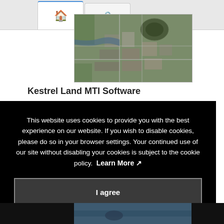[Figure (screenshot): Browser tab bar showing two tabs: one with a house/home icon (active, with blue top border) and one with a padlock icon]
[Figure (photo): Aerial satellite view of a densely built urban area with buildings, streets, and a circular stadium or arena visible]
Kestrel Land MTI Software
This website uses cookies to provide you with the best experience on our website. If you wish to disable cookies, please do so in your browser settings. Your continued use of our site without disabling your cookies is subject to the cookie policy.  Learn More
I agree
[Figure (photo): Partial aerial or wildlife photo visible at the bottom of the page]